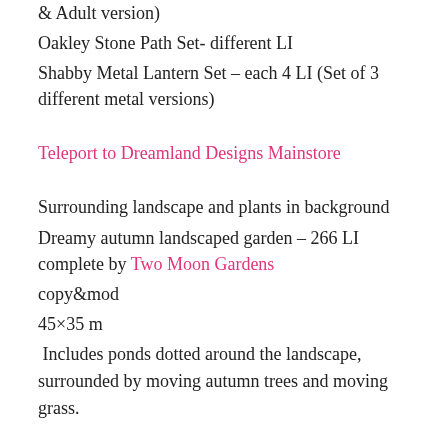& Adult version)
Oakley Stone Path Set- different LI
Shabby Metal Lantern Set – each 4 LI (Set of 3 different metal versions)
Teleport to Dreamland Designs Mainstore
Surrounding landscape and plants in background
Dreamy autumn landscaped garden – 266 LI complete by Two Moon Gardens
copy&mod
45×35 m
Includes ponds dotted around the landscape, surrounded by moving autumn trees and moving grass.